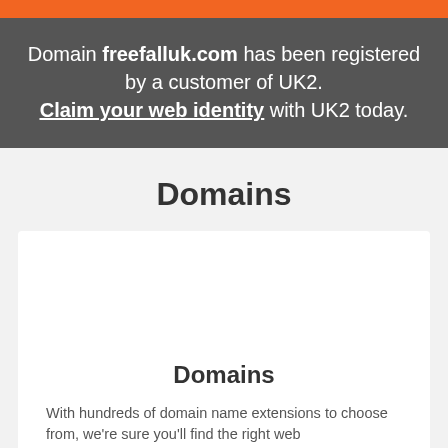Domain freefalluk.com has been registered by a customer of UK2. Claim your web identity with UK2 today.
Domains
Domains
With hundreds of domain name extensions to choose from, we're sure you'll find the right web